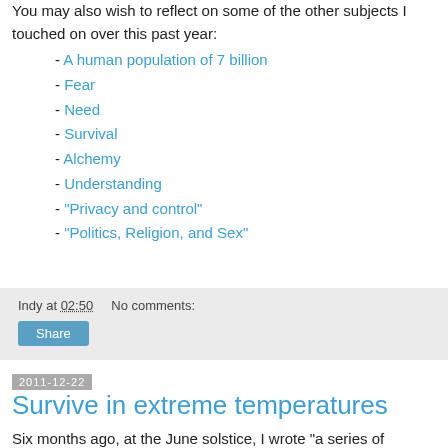You may also wish to reflect on some of the other subjects I touched on over this past year:
- A human population of 7 billion
- Fear
- Need
- Survival
- Alchemy
- Understanding
- "Privacy and control"
- "Politics, Religion, and Sex"
Indy at 02:50   No comments:
Share
2011-12-22
Survive in extreme temperatures
Six months ago, at the June solstice, I wrote "a series of Survival Guides in an attempt to educate and inform readers of wilderness survival techniques". Today, on the day of the